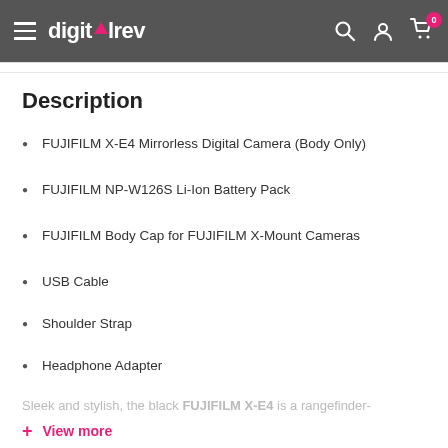[Figure (logo): DigitalRev navigation bar with hamburger menu, logo, search icon, user icon, and cart icon with badge showing 0]
Description
FUJIFILM X-E4 Mirrorless Digital Camera (Body Only)
FUJIFILM NP-W126S Li-Ion Battery Pack
FUJIFILM Body Cap for FUJIFILM X-Mount Cameras
USB Cable
Shoulder Strap
Headphone Adapter
Sleek and stylish, the black FUJIFILM X-E4 is a rangefinder-
+ View more